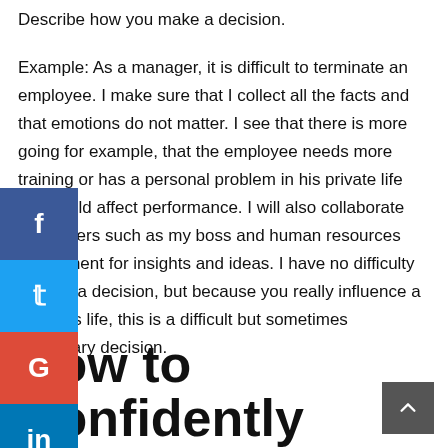Describe how you make a decision.
Example: As a manager, it is difficult to terminate an employee. I make sure that I collect all the facts and that emotions do not matter. I see that there is more going for example, that the employee needs more training or has a personal problem in his private life that could affect performance. I will also collaborate with others such as my boss and human resources department for insights and ideas. I have no difficulty making a decision, but because you really influence a person’s life, this is a difficult but sometimes necessary decision.
How to Confidently